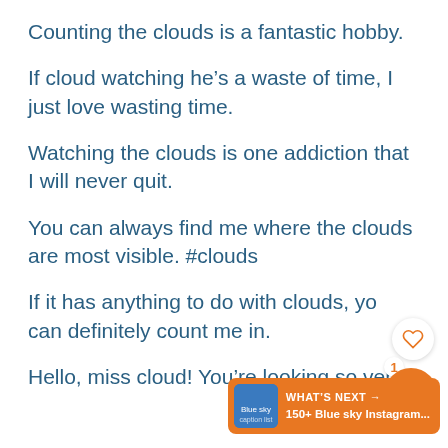Counting the clouds is a fantastic hobby.
If cloud watching he’s a waste of time, I just love wasting time.
Watching the clouds is one addiction that I will never quit.
You can always find me where the clouds are most visible. #clouds
If it has anything to do with clouds, you can definitely count me in.
Hello, miss cloud! You’re looking so very
[Figure (screenshot): Heart (like) button circle icon on right side]
[Figure (screenshot): Orange share button with count badge showing 1]
[Figure (screenshot): What's Next banner: 150+ Blue sky Instagram...]